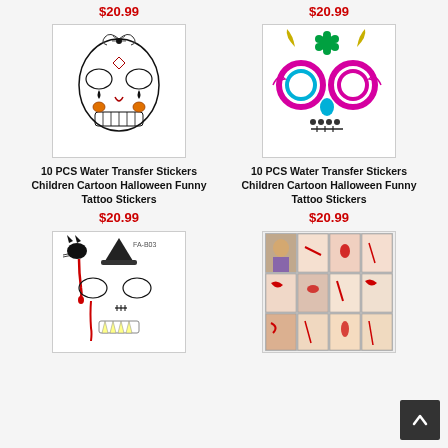$20.99
$20.99
[Figure (photo): Sugar skull Halloween face tattoo sticker with black designs, eyes, and orange pumpkins]
[Figure (photo): Colorful Halloween face tattoo sticker with pink/blue floral eye designs and green flower]
10 PCS Water Transfer Stickers Children Cartoon Halloween Funny Tattoo Stickers
$20.99
10 PCS Water Transfer Stickers Children Cartoon Halloween Funny Tattoo Stickers
$20.99
[Figure (photo): Halloween face tattoo sticker with scary design including cat, blood drips, fangs]
[Figure (photo): Grid collage of Halloween wound/scar temporary tattoo sticker sheets]